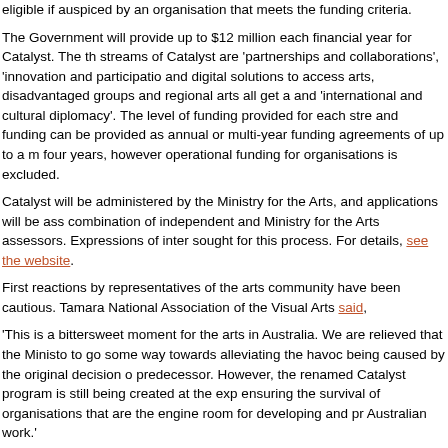eligible if auspiced by an organisation that meets the funding criteria.
The Government will provide up to $12 million each financial year for Catalyst. The three streams of Catalyst are 'partnerships and collaborations', 'innovation and participation' and digital solutions to access arts, disadvantaged groups and regional arts all get a look in and 'international and cultural diplomacy'. The level of funding provided for each stream and funding can be provided as annual or multi-year funding agreements of up to a maximum four years, however operational funding for organisations is excluded.
Catalyst will be administered by the Ministry for the Arts, and applications will be assessed by a combination of independent and Ministry for the Arts assessors. Expressions of interest will be sought for this process. For details, see the website.
First reactions by representatives of the arts community have been cautious. Tamara... National Association of the Visual Arts said,
'This is a bittersweet moment for the arts in Australia. We are relieved that the Minister... to go some way towards alleviating the havoc being caused by the original decision of... predecessor. However, the renamed Catalyst program is still being created at the exp... ensuring the survival of organisations that are the engine room for developing and pr... Australian work.'
Free the Arts spokesperson Norm Horton (Feral Arts, Brisbane) said:
'On balance we have to say this looks to be a bad deal for the arts sector, and small-... particular. The government's decision to push ahead with cuts to the Australia Counc... $70m over four years will have damaging effects in the sector. The fears of hundreds... companies across the country have been realised. They will now be denied access to...